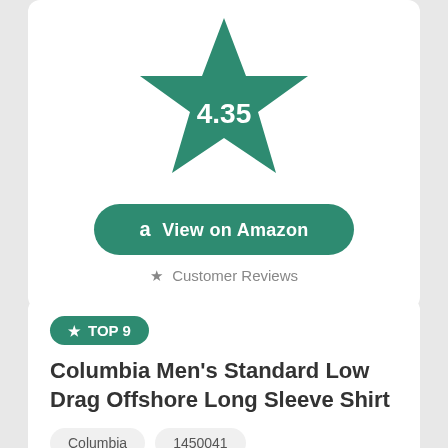[Figure (other): Large green star with score 4.35 in center]
View on Amazon
★ Customer Reviews
★ TOP 9
Columbia Men's Standard Low Drag Offshore Long Sleeve Shirt
Columbia
1450041
10.00 x 6.00 x 2.00 inches
1.00 pounds